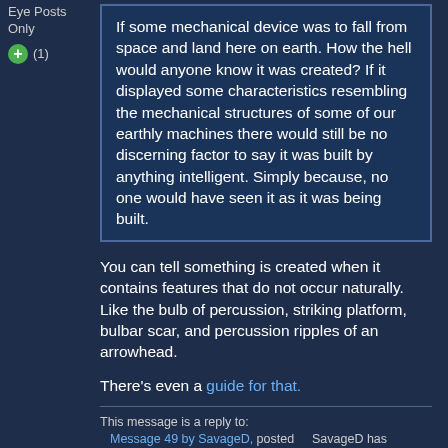Eye Posts Only
(1)
If some mechanical device was to fall from space and land here on earth. How the hell would anyone know it was created? If it displayed some characteristics resembling the mechanical structures of some of our earthly machines there would still be no discerning factor to say it was built by anything intelligent. Simply because, no one would have seen it as it was being built.
You can tell something is created when it contains features that do not occur naturally. Like the bulb of percussion, striking platform, bulbar scar, and percussion ripples of an arrowhead.
There's even a guide for that.
This message is a reply to:
Message 49 by SavageD, posted 12-03-2013 2:33 PM
SavageD has replied
Reply to this: